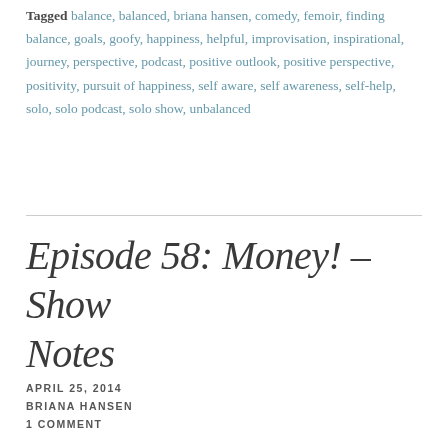Tagged balance, balanced, briana hansen, comedy, femoir, finding balance, goals, goofy, happiness, helpful, improvisation, inspirational, journey, perspective, podcast, positive outlook, positive perspective, positivity, pursuit of happiness, self aware, self awareness, self-help, solo, solo podcast, solo show, unbalanced
Episode 58: Money! – Show Notes
APRIL 25, 2014
BRIANA HANSEN
1 COMMENT